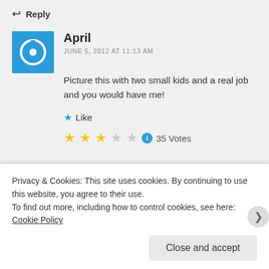↩ Reply
April
JUNE 5, 2012 AT 11:13 AM
Picture this with two small kids and a real job and you would have me!
★ Like
35 Votes
Privacy & Cookies: This site uses cookies. By continuing to use this website, you agree to their use.
To find out more, including how to control cookies, see here: Cookie Policy
Close and accept